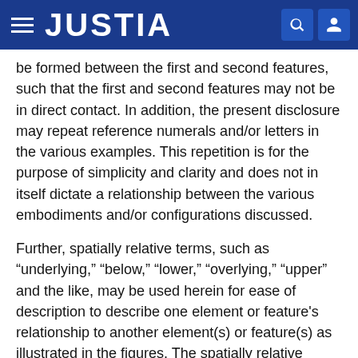JUSTIA
be formed between the first and second features, such that the first and second features may not be in direct contact. In addition, the present disclosure may repeat reference numerals and/or letters in the various examples. This repetition is for the purpose of simplicity and clarity and does not in itself dictate a relationship between the various embodiments and/or configurations discussed.
Further, spatially relative terms, such as “underlying,” “below,” “lower,” “overlying,” “upper” and the like, may be used herein for ease of description to describe one element or feature's relationship to another element(s) or feature(s) as illustrated in the figures. The spatially relative terms are intended to encompass different orientations of the device in use or operation in addition to the orientation depicted in the figures. The apparatus